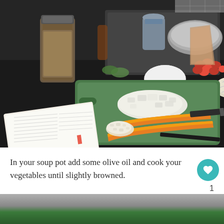[Figure (photo): Kitchen counter scene with a green cutting board holding two whole carrots, chopped onions, and minced garlic. In the background, a baking tray with cherry tomatoes, garlic head, and other vegetables. A jar of lentils, an open cookbook/recipe book, a mixing bowl, and various kitchen items are visible on a dark countertop.]
In your soup pot add some olive oil and cook your vegetables until slightly browned.
[Figure (photo): Partial view of a white bowl or pot on a green surface, visible at the bottom of the page.]